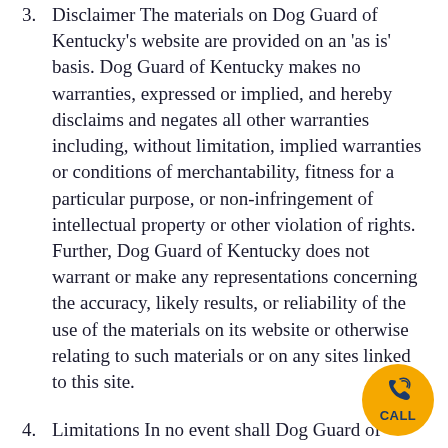3. Disclaimer The materials on Dog Guard of Kentucky's website are provided on an 'as is' basis. Dog Guard of Kentucky makes no warranties, expressed or implied, and hereby disclaims and negates all other warranties including, without limitation, implied warranties or conditions of merchantability, fitness for a particular purpose, or non-infringement of intellectual property or other violation of rights. Further, Dog Guard of Kentucky does not warrant or make any representations concerning the accuracy, likely results, or reliability of the use of the materials on its website or otherwise relating to such materials or on any sites linked to this site.
4. Limitations In no event shall Dog Guard of Kentucky or its suppliers be liable for any damages (including, without limitation, damages